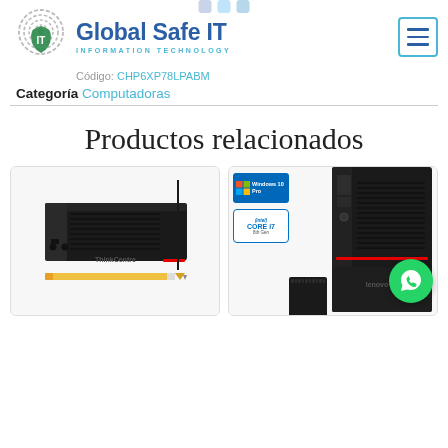Global Safe IT — INFORMATION TECHNOLOGY
Código: CHP6XP78LPABM
Categoría Computadoras
Productos relacionados
[Figure (photo): Lenovo ThinkCentre mini desktop computer with a pencil for scale]
[Figure (photo): Lenovo ThinkCentre desktop computer with Windows 10 Pro and Intel Core i7 8th Gen badges, keyboard visible, and WhatsApp contact button]